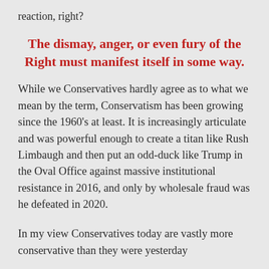reaction, right?
The dismay, anger, or even fury of the Right must manifest itself in some way.
While we Conservatives hardly agree as to what we mean by the term, Conservatism has been growing since the 1960’s at least. It is increasingly articulate and was powerful enough to create a titan like Rush Limbaugh and then put an odd-duck like Trump in the Oval Office against massive institutional resistance in 2016, and only by wholesale fraud was he defeated in 2020.
In my view Conservatives today are vastly more conservative than they were yesterday